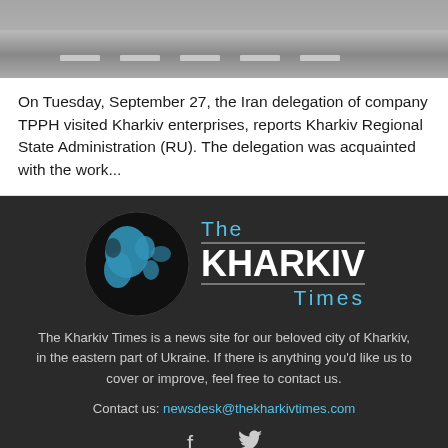[Figure (photo): Photo of a road surface with lane markings, gray asphalt]
On Tuesday, September 27, the Iran delegation of company TPPH visited Kharkiv enterprises, reports Kharkiv Regional State Administration (RU). The delegation was acquainted with the work...
[Figure (logo): The Kharkiv Times logo: globe icon with blue continents on black background, text 'The KHARKIV Times' in white and blue]
The Kharkiv Times is a news site for our beloved city of Kharkiv, in the eastern part of Ukraine. If there is anything you'd like us to cover or improve, feel free to contact us.
Contact us: newsdesk@thekharkivtimes.com